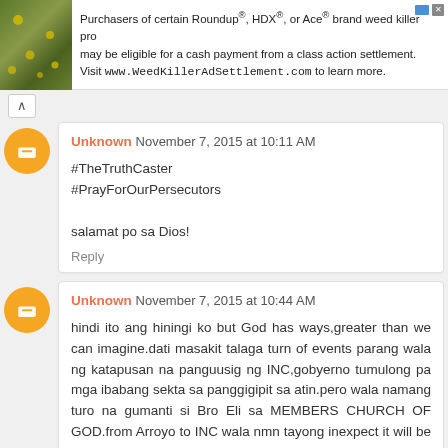[Figure (screenshot): Ad banner for WeedKillerAdSettlement.com with plant background image and text about Roundup, HDX, Ace brand weed killer class action settlement]
Purchasers of certain Roundup®, HDX®, or Ace® brand weed killer pro may be eligible for a cash payment from a class action settlement. Visit www.WeedKillerAdSettlement.com to learn more.
Unknown November 7, 2015 at 10:11 AM
#TheTruthCaster
#PrayForOurPersecutors

salamat po sa Dios!

Reply
Unknown November 7, 2015 at 10:44 AM
hindi ito ang hiningi ko but God has ways,greater than we can imagine.dati masakit talaga turn of events parang wala ng katapusan na panguusig ng INC,gobyerno tumulong pa mga ibabang sekta sa panggigipit sa atin.pero wala namang turo na gumanti si Bro Eli sa MEMBERS CHURCH OF GOD.from Arroyo to INC wala nmn tayong inexpect it will be this as dreadful,Ito ay